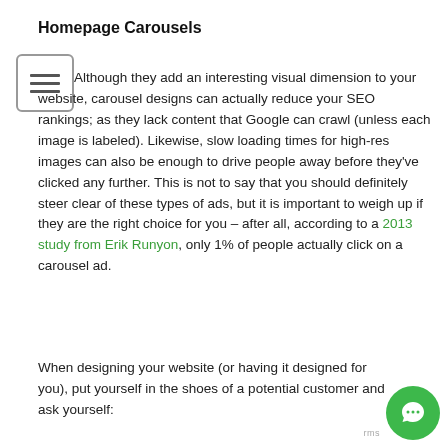Homepage Carousels
[Figure (illustration): Menu/hamburger icon box with three horizontal bars]
Although they add an interesting visual dimension to your website, carousel designs can actually reduce your SEO rankings; as they lack content that Google can crawl (unless each image is labeled). Likewise, slow loading times for high-res images can also be enough to drive people away before they've clicked any further. This is not to say that you should definitely steer clear of these types of ads, but it is important to weigh up if they are the right choice for you – after all, according to a 2013 study from Erik Runyon, only 1% of people actually click on a carousel ad.
When designing your website (or having it designed for you), put yourself in the shoes of a potential customer and ask yourself:
[Figure (illustration): Green circular chat bubble icon button in bottom right corner]